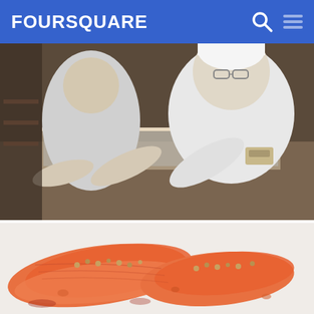FOURSQUARE
[Figure (photo): Sushi chefs in white uniforms working behind a sushi bar counter with glass display case]
10. Matsuhisa
8.8
129 N LA Cienega Blvd, Beverly Hills, CA
▪▪▪▪▪▪▪▪ · 90 ▪▪▪▪▪▪▪▪▪▪▪▪▪▪▪▪▪▪▪▪
[Figure (photo): Close-up of sliced salmon sashimi with seeds/nuts on a white plate]